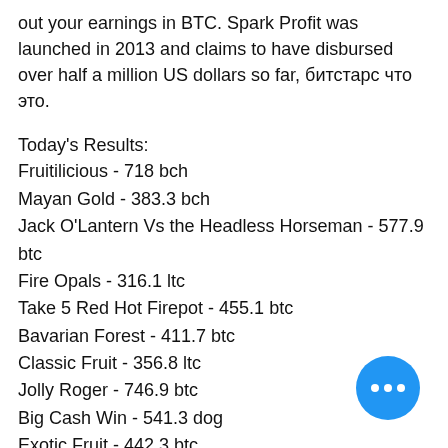out your earnings in BTC. Spark Profit was launched in 2013 and claims to have disbursed over half a million US dollars so far, битстарс что это.
Today's Results:
Fruitilicious - 718 bch
Mayan Gold - 383.3 bch
Jack O'Lantern Vs the Headless Horseman - 577.9 btc
Fire Opals - 316.1 ltc
Take 5 Red Hot Firepot - 455.1 btc
Bavarian Forest - 411.7 btc
Classic Fruit - 356.8 ltc
Jolly Roger - 746.9 btc
Big Cash Win - 541.3 dog
Exotic Fruit - 442.3 btc
Golden Fish Tank - 219.4 ltc
Golden Shot - 602.2 btc
Girls with Guns Jungle Heat - 440.7 eth
Casino Royale - 595.5 eth
Book of Crazy Chicken - 479.7 btc